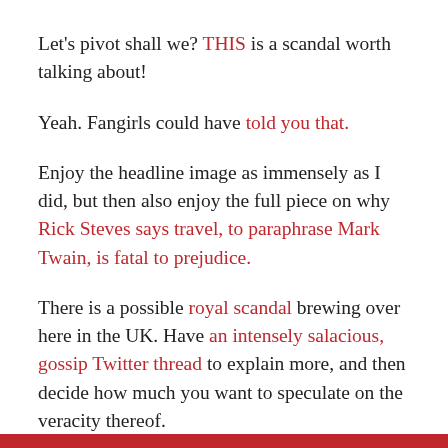Let’s pivot shall we? THIS is a scandal worth talking about!
Yeah. Fangirls could have told you that.
Enjoy the headline image as immensely as I did, but then also enjoy the full piece on why Rick Steves says travel, to paraphrase Mark Twain, is fatal to prejudice.
There is a possible royal scandal brewing over here in the UK. Have an intensely salacious, gossip Twitter thread to explain more, and then decide how much you want to speculate on the veracity thereof.
The scientific descriptions in this piece are downright poetic and the inner six year old in me ate it up. It’s